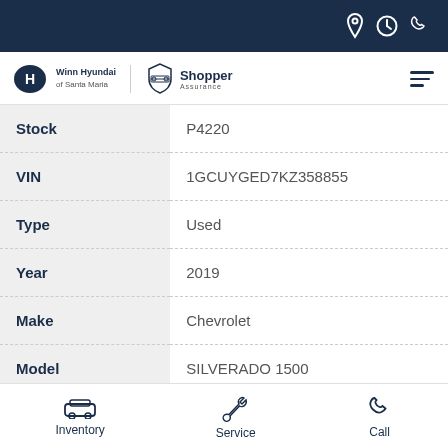Winn Hyundai of Santa Maria — Shopper Assurance
| Field | Value |
| --- | --- |
| Stock | P4220 |
| VIN | 1GCUYGED7KZ358855 |
| Type | Used |
| Year | 2019 |
| Make | Chevrolet |
| Model | SILVERADO 1500 |
Inventory  Service  Call